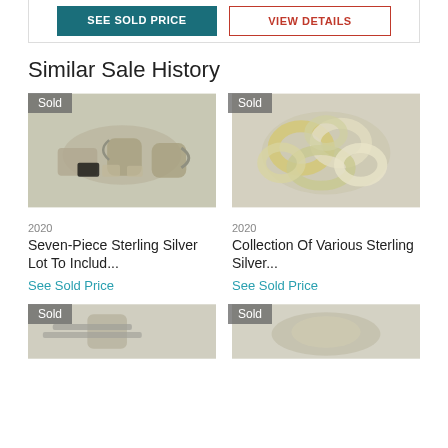SEE SOLD PRICE | VIEW DETAILS
Similar Sale History
[Figure (photo): Silver lot photo with sold badge - Seven-Piece Sterling Silver Lot, 2020]
2020
Seven-Piece Sterling Silver Lot To Includ...
See Sold Price
[Figure (photo): Collection of silver napkin rings photo with sold badge - Collection Of Various Sterling Silver, 2020]
2020
Collection Of Various Sterling Silver...
See Sold Price
[Figure (photo): Bottom left item photo with sold badge]
[Figure (photo): Bottom right item photo with sold badge]